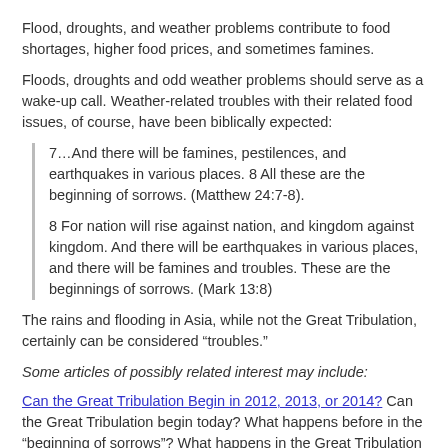Flood, droughts, and weather problems contribute to food shortages, higher food prices, and sometimes famines.
Floods, droughts and odd weather problems should serve as a wake-up call. Weather-related troubles with their related food issues, of course, have been biblically expected:
7…And there will be famines, pestilences, and earthquakes in various places. 8 All these are the beginning of sorrows. (Matthew 24:7-8).
8 For nation will rise against nation, and kingdom against kingdom. And there will be earthquakes in various places, and there will be famines and troubles. These are the beginnings of sorrows. (Mark 13:8)
The rains and flooding in Asia, while not the Great Tribulation, certainly can be considered “troubles.”
Some articles of possibly related interest may include:
Can the Great Tribulation Begin in 2012, 2013, or 2014? Can the Great Tribulation begin today? What happens before in the “beginning of sorrows”? What happens in the Great Tribulation and the Day of the Lord? When is the earliest that the Great Tribulation can begin? What is the Day of the Lord?
China, Its Biblical Past and Future, Part 1: Genesis and Chinese Characters Where did the Chinese people come from? This article provides information showing that the Chinese peoples must have known